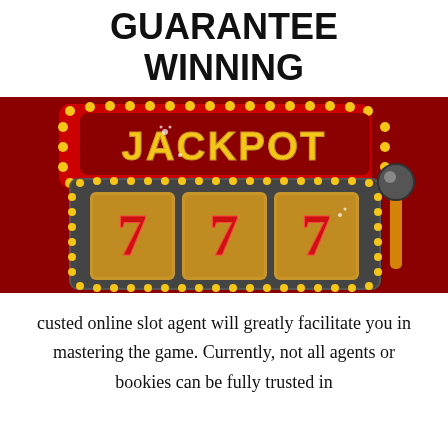GUARANTEE WINNING
[Figure (illustration): Jackpot slot machine illustration on dark red background showing 777 on the reels with a red and gold frame with yellow dot border lights and a pull handle on the right]
custed online slot agent will greatly facilitate you in mastering the game. Currently, not all agents or bookies can be fully trusted in